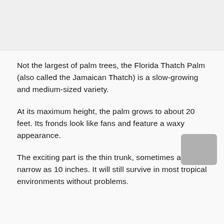[Figure (other): Gray placeholder image area at the top of the page]
Not the largest of palm trees, the Florida Thatch Palm (also called the Jamaican Thatch) is a slow-growing and medium-sized variety.
At its maximum height, the palm grows to about 20 feet. Its fronds look like fans and feature a waxy appearance.
The exciting part is the thin trunk, sometimes as narrow as 10 inches. It will still survive in most tropical environments without problems.